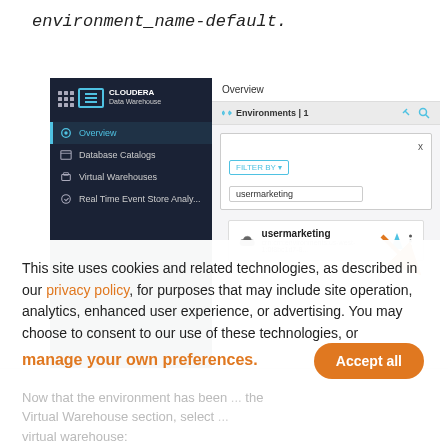environment_name-default.
[Figure (screenshot): Cloudera Data Warehouse UI screenshot showing sidebar navigation with Overview, Database Catalogs, Virtual Warehouses, Real Time Event Store Analy... options, and main panel with Environments filter showing 'usermarketing' result with orange arrow pointing to it.]
This site uses cookies and related technologies, as described in our privacy policy, for purposes that may include site operation, analytics, enhanced user experience, or advertising. You may choose to consent to our use of these technologies, or manage your own preferences.
Now that the environment has been... the Virtual Warehouse section, select... virtual warehouse: